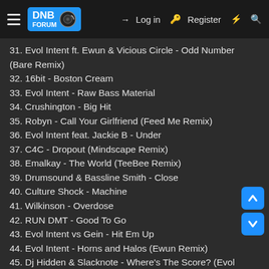DNB Forum — Log in | Register
31. Evol Intent ft. Ewun & Vicious Circle - Odd Number (Bare Remix)
32. 16bit - Boston Cream
33. Evol Intent - Raw Bass Material
34. Crushington - Big Hit
35. Robyn - Call Your Girlfriend (Feed Me Remix)
36. Evol Intent feat. Jackie B - Under
37. C4C - Dropout (Mindscape Remix)
38. Emalkay - The World (TeeBee Remix)
39. Drumsound & Bassline Smith - Close
40. Culture Shock - Machine
41. Wilkinson - Overdose
42. RUN DMT - Good To Go
43. Evol Intent vs Gein - Hit Em Up
44. Evol Intent - Horns and Halos (Ewun Remix)
45. Dj Hidden & Slacknote - Where's The Score? (Evol Intent Remix)
46. Future Cut - Ghetto Style (Evol Intent Remix)
47. Pish Posh - Corrupt Cops (Evol Intent Remix)